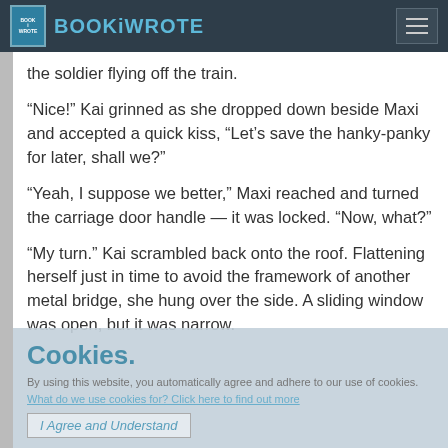BOOKiWROTE
the soldier flying off the train.
“Nice!” Kai grinned as she dropped down beside Maxi and accepted a quick kiss, “Let’s save the hanky-panky for later, shall we?”
“Yeah, I suppose we better,” Maxi reached and turned the carriage door handle — it was locked. “Now, what?”
“My turn.” Kai scrambled back onto the roof. Flattening herself just in time to avoid the framework of another metal bridge, she hung over the side. A sliding window was open, but it was narrow.
Cookies.
By using this website, you automatically agree and adhere to our use of cookies.
What do we use cookies for? Click here to find out more
I Agree and Understand